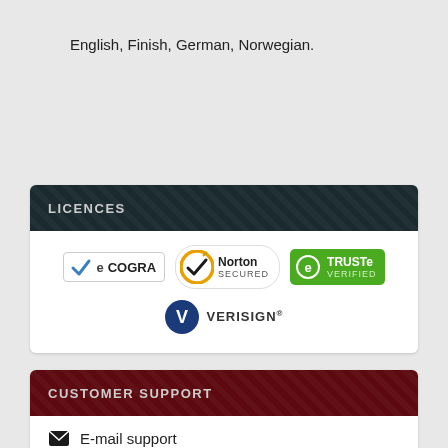English, Finish, German, Norwegian.
LICENCES
[Figure (logo): eCOGRA, Norton Secured, TRUSTe Verified, and VeriSign trust badges]
CUSTOMER SUPPORT
E-mail support
Live chat.